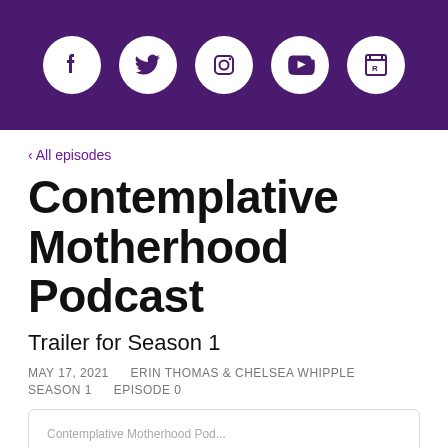[Figure (other): Purple header bar with five white circular social media icons: Facebook, Twitter, Instagram, YouTube, and a RSS/web icon]
‹ All episodes
Contemplative Motherhood Podcast
Trailer for Season 1
MAY 17, 2021     ERIN THOMAS & CHELSEA WHIPPLE     SEASON 1     EPISODE 0
[Figure (screenshot): Podcast player widget showing 'Contemplative Motherhood Pod...' and 'Trailer for Season 1' in bold]